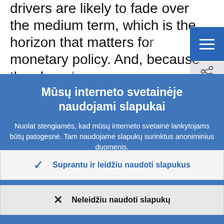drivers are likely to fade over the medium term, which is the horizon that matters for monetary policy. And, because they largely
Mūsų interneto svetainėje naudojami slapukai
Nuolat stengiamės, kad mūsų interneto svetainė lankytojams būtų patogesnė. Tam naudojame slapukų surinktus anoniminius duomenis.
Sužinokite daugiau, kaip naudojame slapukus
Suprantu ir leidžiu naudoti slapukus
Neleidžiu naudoti slapukų